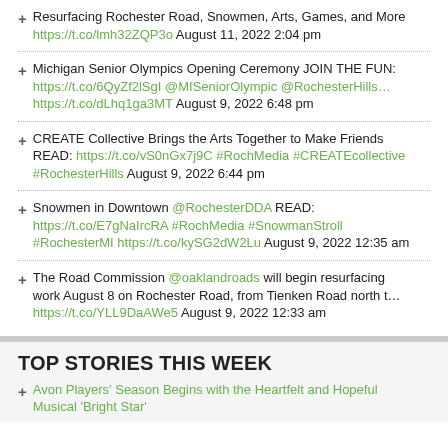Resurfacing Rochester Road, Snowmen, Arts, Games, and More https://t.co/lmh32ZQP3o August 11, 2022 2:04 pm
Michigan Senior Olympics Opening Ceremony JOIN THE FUN: https://t.co/6QyZf2lSgI @MISeniorOlympic @RochesterHills… https://t.co/dLhq1ga3MT August 9, 2022 6:48 pm
CREATE Collective Brings the Arts Together to Make Friends READ: https://t.co/vS0nGx7j9C #RochMedia #CREATEcollective #RochesterHills August 9, 2022 6:44 pm
Snowmen in Downtown @RochesterDDA READ: https://t.co/E7gNaIrcRA #RochMedia #SnowmanStroll #RochesterMI https://t.co/kySG2dW2Lu August 9, 2022 12:35 am
The Road Commission @oaklandroads will begin resurfacing work August 8 on Rochester Road, from Tienken Road north t… https://t.co/YLL9DaAWe5 August 9, 2022 12:33 am
TOP STORIES THIS WEEK
Avon Players' Season Begins with the Heartfelt and Hopeful Musical 'Bright Star'